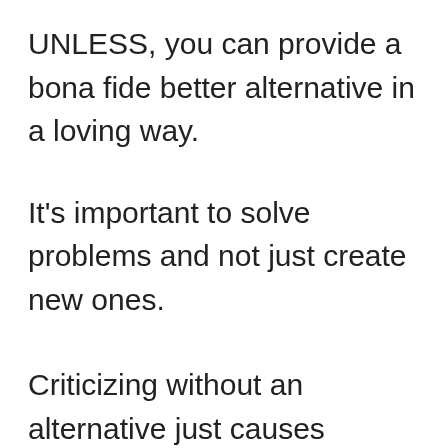UNLESS, you can provide a bona fide better alternative in a loving way.
It's important to solve problems and not just create new ones.
Criticizing without an alternative just causes anxiety and frustration in the other person.